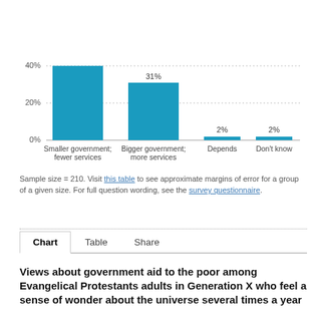[Figure (bar-chart): ]
Sample size = 210. Visit this table to see approximate margins of error for a group of a given size. For full question wording, see the survey questionnaire.
Views about government aid to the poor among Evangelical Protestants adults in Generation X who feel a sense of wonder about the universe several times a year